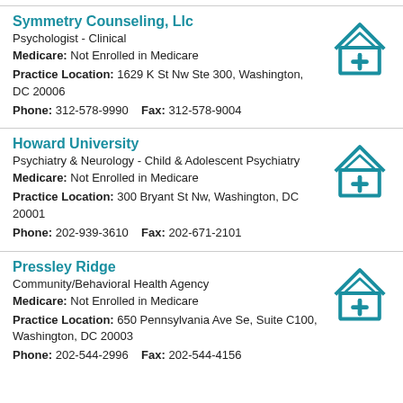Symmetry Counseling, Llc
Psychologist - Clinical
Medicare: Not Enrolled in Medicare
Practice Location: 1629 K St Nw Ste 300, Washington, DC 20006
Phone: 312-578-9990    Fax: 312-578-9004
[Figure (illustration): Teal house icon with a plus/cross symbol inside]
Howard University
Psychiatry & Neurology - Child & Adolescent Psychiatry
Medicare: Not Enrolled in Medicare
Practice Location: 300 Bryant St Nw, Washington, DC 20001
Phone: 202-939-3610    Fax: 202-671-2101
[Figure (illustration): Teal house icon with a plus/cross symbol inside]
Pressley Ridge
Community/Behavioral Health Agency
Medicare: Not Enrolled in Medicare
Practice Location: 650 Pennsylvania Ave Se, Suite C100, Washington, DC 20003
Phone: 202-544-2996    Fax: 202-544-4156
[Figure (illustration): Teal house icon with a plus/cross symbol inside]